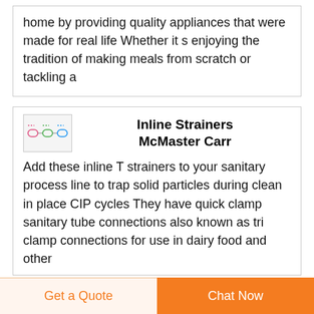home by providing quality appliances that were made for real life Whether it s enjoying the tradition of making meals from scratch or tackling a
[Figure (illustration): Small thumbnail image showing inline strainers - appears to show colored cylindrical components against a light background]
Inline Strainers McMaster Carr
Add these inline T strainers to your sanitary process line to trap solid particles during clean in place CIP cycles They have quick clamp sanitary tube connections also known as tri clamp connections for use in dairy food and other
[Figure (illustration): Dark navy blue circular scroll-to-top button with white upward arrow icon]
Get a Quote
Chat Now